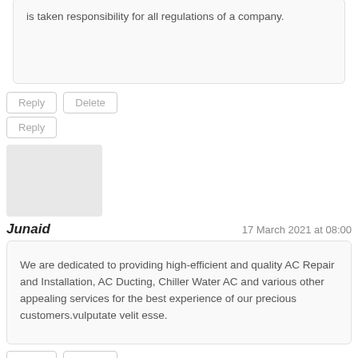is taken responsibility for all regulations of a company.
Reply | Delete
Reply
[Figure (other): User avatar placeholder image, light grey rectangle]
Junaid
17 March 2021 at 08:00
We are dedicated to providing high-efficient and quality AC Repair and Installation, AC Ducting, Chiller Water AC and various other appealing services for the best experience of our precious customers.vulputate velit esse.
Reply | Delete